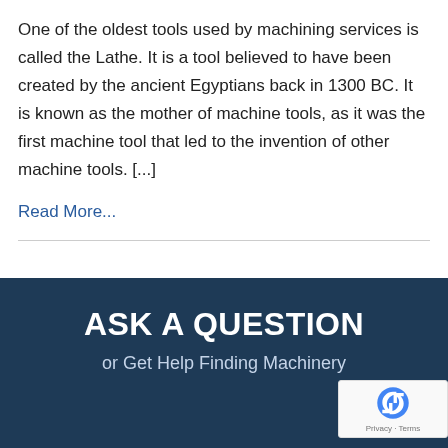One of the oldest tools used by machining services is called the Lathe. It is a tool believed to have been created by the ancient Egyptians back in 1300 BC. It is known as the mother of machine tools, as it was the first machine tool that led to the invention of other machine tools. [...]
Read More...
ASK A QUESTION
or Get Help Finding Machinery